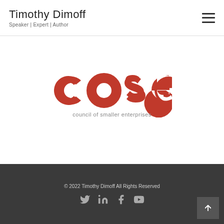Timothy Dimoff
Speaker | Expert | Author
[Figure (logo): COSE - Council of Smaller Enterprises logo, red bold letters spelling 'cose' with tagline 'council of smaller enterprises' below in gray]
© 2022 Timothy Dimoff All Rights Reserved